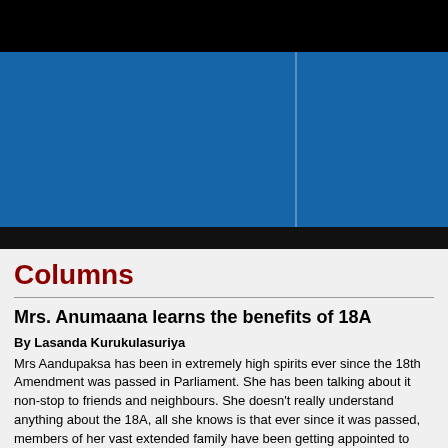[Figure (other): Black top bar and blue banner section with column divider, newspaper website header graphic area]
Columns
Mrs. Anumaana learns the benefits of 18A
By Lasanda Kurukulasuriya
Mrs Aandupaksa has been in extremely high spirits ever since the 18th Amendment was passed in Parliament. She has been talking about it non-stop to friends and neighbours. She doesn't really understand anything about the 18A, all she knows is that ever since it was passed, members of her vast extended family have been getting appointed to various high positions in government, and relatives who were hitherto jobless have suddenly secured prestigious, influential and well-paid jobs. And isn't that a cause for celebration, she asks.
Mrs Aandupaksa's most exciting news for Mrs Anumaana was to announce that a 'very important' appointment has been made the Co... She says this appointment results of all future sele...